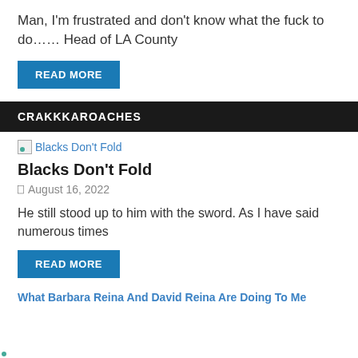Man, I'm frustrated and don't know what the fuck to do…… Head of LA County
READ MORE
CRAKKKAROACHES
[Figure (other): Thumbnail image placeholder for article 'Blacks Don't Fold']
Blacks Don't Fold
August 16, 2022
He still stood up to him with the sword. As I have said numerous times
READ MORE
[Figure (other): Thumbnail image placeholder for article 'What Barbara Reina And David Reina Are Doing To Me']